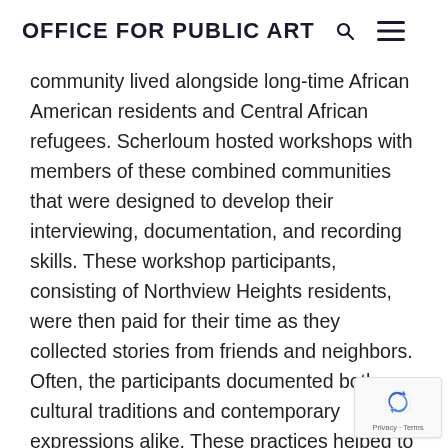OFFICE FOR PUBLIC ART
community lived alongside long-time African American residents and Central African refugees. Scherloum hosted workshops with members of these combined communities that were designed to develop their interviewing, documentation, and recording skills. These workshop participants, consisting of Northview Heights residents, were then paid for their time as they collected stories from friends and neighbors. Often, the participants documented both cultural traditions and contemporary expressions alike. These practices helped to foster